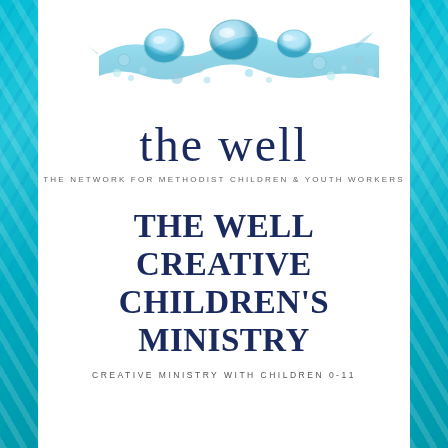[Figure (logo): Water bubbles illustration with teal liquid surface and scattered bubbles forming the logo image for 'the well']
the well
THE NETWORK FOR METHODIST CHILDREN & YOUTH WORKERS
THE WELL CREATIVE CHILDREN'S MINISTRY
CREATIVE MINISTRY WITH CHILDREN 0-11